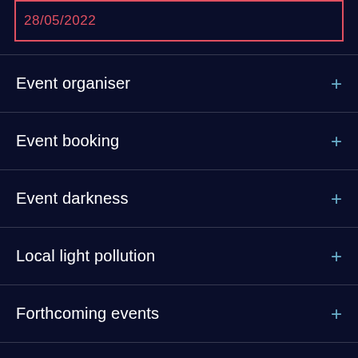28/05/2022
Event organiser
Event booking
Event darkness
Local light pollution
Forthcoming events
Stay and gaze nearby